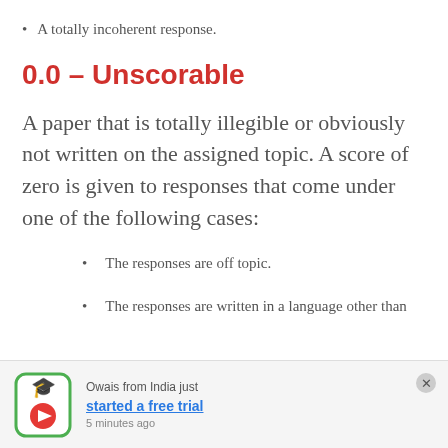A totally incoherent response.
0.0 – Unscorable
A paper that is totally illegible or obviously not written on the assigned topic. A score of zero is given to responses that come under one of the following cases:
The responses are off topic.
The responses are written in a language other than